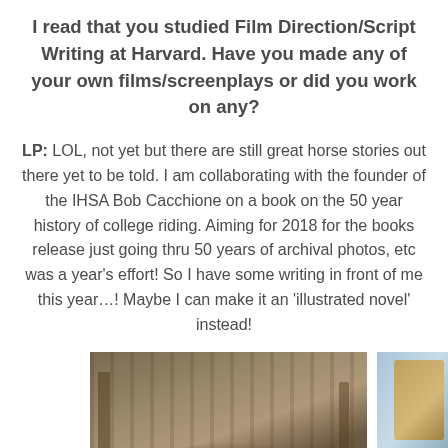I read that you studied Film Direction/Script Writing at Harvard. Have you made any of your own films/screenplays or did you work on any?
LP: LOL, not yet but there are still great horse stories out there yet to be told. I am collaborating with the founder of the IHSA Bob Cacchione on a book on the 50 year history of college riding. Aiming for 2018 for the books release just going thru 50 years of archival photos, etc was a year's effort! So I have some writing in front of me this year…! Maybe I can make it an 'illustrated novel' instead!
[Figure (photo): Two photographs side by side: left photo shows a wooden barn or stable interior with vertical planks and what appears to be a horse or animal at the bottom; right photo shows a bright outdoor scene with some metallic or reflective objects.]